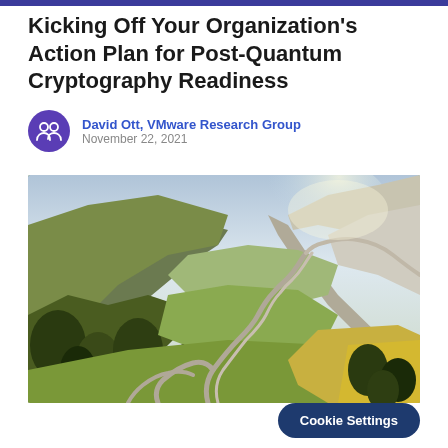Kicking Off Your Organization's Action Plan for Post-Quantum Cryptography Readiness
David Ott, VMware Research Group
November 22, 2021
[Figure (photo): Aerial view of a winding mountain road through a valley with autumn-colored trees and dramatic mountain scenery]
Cookie Settings